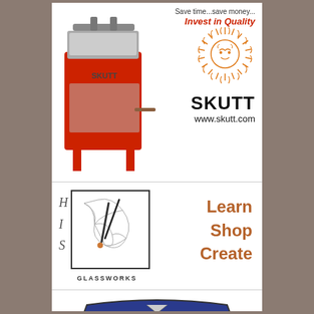[Figure (illustration): Skutt electric kiln machine in red and grey with label SKUTT on the front]
Save time...save money...
Invest in Quality
[Figure (logo): Skutt sun/lion face logo in orange]
SKUTT
www.skutt.com
[Figure (logo): HIS Glassworks logo with stained glass artwork and letters H, I, S on the left]
Learn
Shop
Create
[Figure (logo): CRESS logo in blue shield/banner shape with white letters]